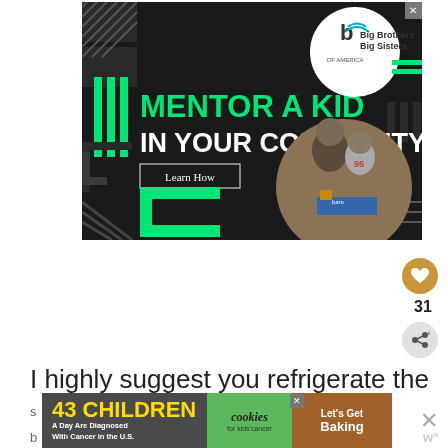[Figure (photo): Big Brothers Big Sisters of America advertisement on dark background. Text reads: MENTOR A KID IN YOUR COMMUNITY. with a Learn How button, green vertical bars and geometric shapes, BBBS circular logo top right, circular photo of adult mentor and child working on a project bottom right, green bracket shapes bottom left. Close X top right corner.]
[Figure (other): Gold circular like/heart button with count 31 below it, and grey circular share button below that.]
I highly suggest you refrigerate the
[Figure (photo): Bottom banner advertisement: left dark section shows '43 CHILDREN A Day Are Diagnosed With Cancer in the U.S.', middle green section shows 'cookies for kids' cancer', right brown section shows 'Let's Get Baking'. Close X and dismiss X on right side.]